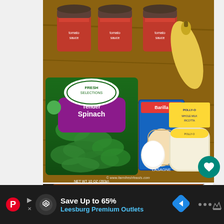[Figure (photo): Overhead photo of lasagna ingredients on a wooden table: three mason jars of tomato sauce, a yellow squash/zucchini, a bag of Fresh Selections Tender Spinach (NET WT 10 oz), a box of Barilla lasagna noodles, Polly-O ricotta cheese, and one egg. Watermark reads: © www.farmfreshfeasts.com]
[Figure (photo): Partial photo showing a pot with dark red tomato sauce cooking inside, on a stovetop.]
© www.farmfreshfeasts.com
[Figure (infographic): Advertisement bar: Save Up to 65% - Leesburg Premium Outlets. Shows Savings.com logo icon, a navigation arrow icon, and small ad trigger arrows.]